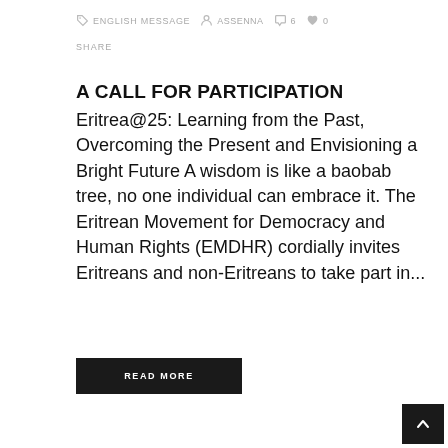ENGLISH MESSAGE  assenna  6  0  SHARE
A CALL FOR PARTICIPATION
Eritrea@25: Learning from the Past, Overcoming the Present and Envisioning a Bright Future A wisdom is like a baobab tree, no one individual can embrace it. The Eritrean Movement for Democracy and Human Rights (EMDHR) cordially invites Eritreans and non-Eritreans to take part in...
READ MORE